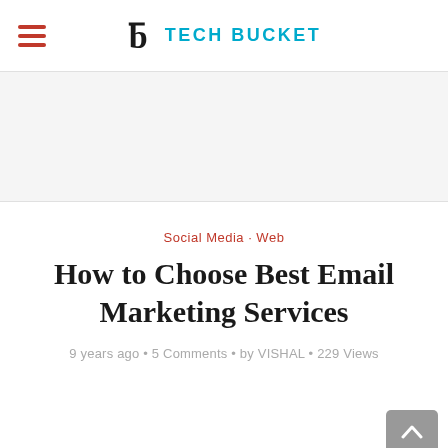TECH BUCKET
[Figure (other): Advertisement banner placeholder area]
Social Media · Web
How to Choose Best Email Marketing Services
9 years ago • 5 Comments • by VISHAL • 229 Views